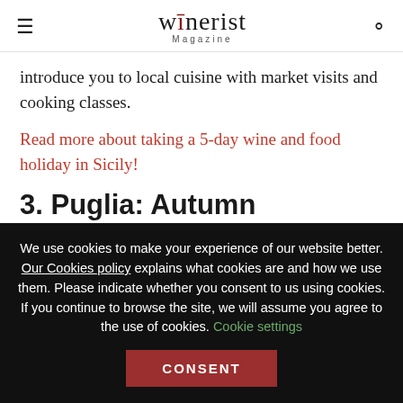winerist Magazine
introduce you to local cuisine with market visits and cooking classes.
Read more about taking a 5-day wine and food holiday in Sicily!
3. Puglia: Autumn sunshine self-drive
We use cookies to make your experience of our website better. Our Cookies policy explains what cookies are and how we use them. Please indicate whether you consent to us using cookies. If you continue to browse the site, we will assume you agree to the use of cookies. Cookie settings CONSENT